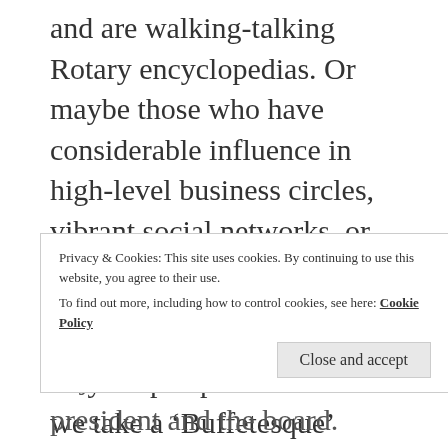and are walking-talking Rotary encyclopedias. Or maybe those who have considerable influence in high-level business circles, vibrant social networks, or even the Church.
Of course, it really depends on your perspective but if we take a ‘Buffetesque’ point-of-view, then the most valuable Rotarians in your club would be those that show up! It’s as simple as that. When you strip
Privacy & Cookies: This site uses cookies. By continuing to use this website, you agree to their use. To find out more, including how to control cookies, see here: Cookie Policy
Close and accept
objectives of the club president and the board.